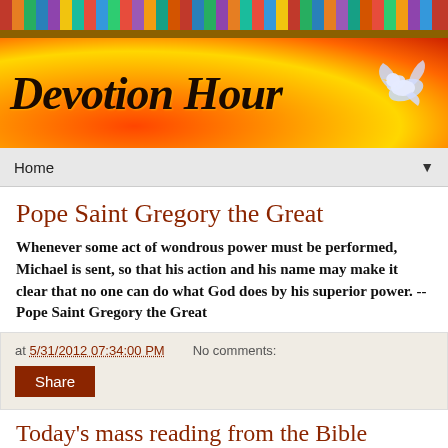[Figure (illustration): Bookshelf banner with colorful book spines at the top]
[Figure (illustration): Flame/fire banner with 'Devotion Hour' in italic script and a white dove on the right]
Home ▼
Pope Saint Gregory the Great
Whenever some act of wondrous power must be performed, Michael is sent, so that his action and his name may make it clear that no one can do what God does by his superior power. -- Pope Saint Gregory the Great
at 5/31/2012 07:34:00 PM   No comments:
Share
Today's mass reading from the Bible May/31/2012 (catholic church Scripture